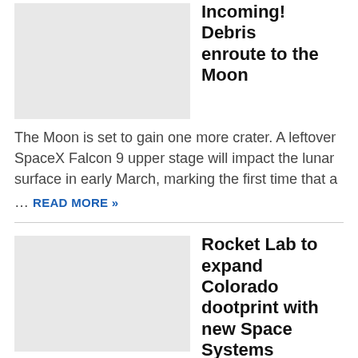[Figure (photo): Placeholder thumbnail image for article about debris enroute to Moon]
Incoming! Debris enroute to the Moon
The Moon is set to gain one more crater. A leftover SpaceX Falcon 9 upper stage will impact the lunar surface in early March, marking the first time that a …
READ MORE »
[Figure (photo): Placeholder thumbnail image for article about Rocket Lab Colorado expansion]
Rocket Lab to expand Colorado dootprint with new Space Systems Complex
Rocket Lab USA will open a new space systems complex in Littleton, Colorado to support growing customer demand for flight software, mission simulation, and Guidance, Navigation and Control (GNC) services.
READ MORE »